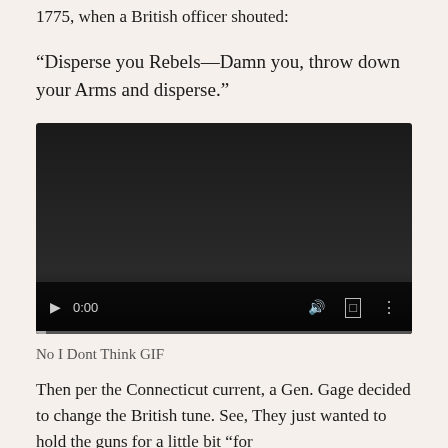1775, when a British officer shouted:
“Disperse you Rebels—Damn you, throw down your Arms and disperse.”
[Figure (screenshot): Video player screenshot showing a black video frame with playback controls: play button, time display 0:00, volume icon, fullscreen icon, and more options icon. A progress bar is visible at the bottom.]
No I Dont Think GIF
Then per the Connecticut current, a Gen. Gage decided to change the British tune. See, They just wanted to hold the guns for a little bit “for